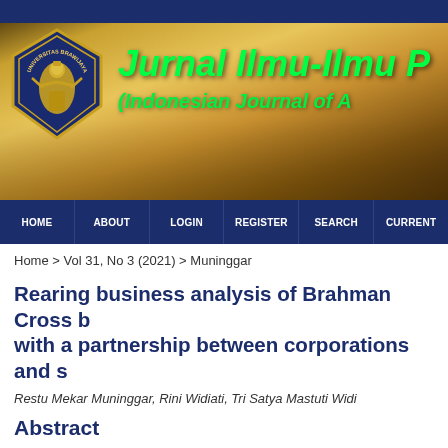[Figure (logo): Universitas Brawijaya logo with journal banner showing 'Jurnal Ilmu-Ilmu P' and '(Indonesian Journal of A' on a golden wheat field background]
HOME | ABOUT | LOGIN | REGISTER | SEARCH | CURRENT
Home > Vol 31, No 3 (2021) > Muninggar
Rearing business analysis of Brahman Cross b with a partnership between corporations and s
Restu Mekar Muninggar, Rini Widiati, Tri Satya Mastuti Widi
Abstract